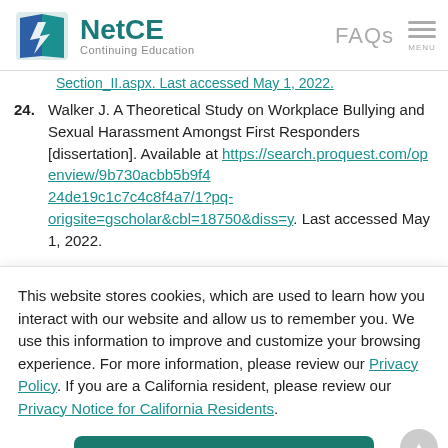NetCE Continuing Education | FAQs | MENU
24. Walker J. A Theoretical Study on Workplace Bullying and Sexual Harassment Amongst First Responders [dissertation]. Available at https://search.proquest.com/openview/9b730acbb5b9f424de19c1c7c4c8f4a7/1?pq-origsite=gscholar&cbl=18750&diss=y. Last accessed May 1, 2022.
This website stores cookies, which are used to learn how you interact with our website and allow us to remember you. We use this information to improve and customize your browsing experience. For more information, please review our Privacy Policy. If you are a California resident, please review our Privacy Notice for California Residents.
Accept
culture-of-sexual-harassment-violence. Last accessed